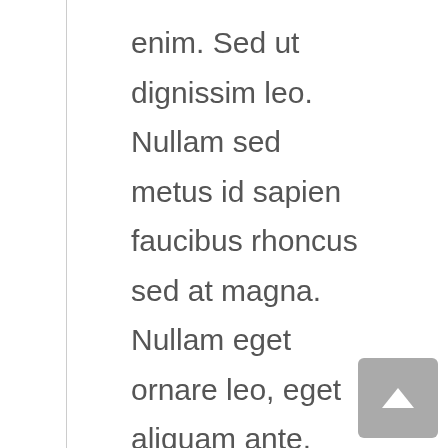enim. Sed ut dignissim leo. Nullam sed metus id sapien faucibus rhoncus sed at magna. Nullam eget ornare leo, eget aliquam ante. Sed cursus malesuada fringilla. Cras porta ipsum sed